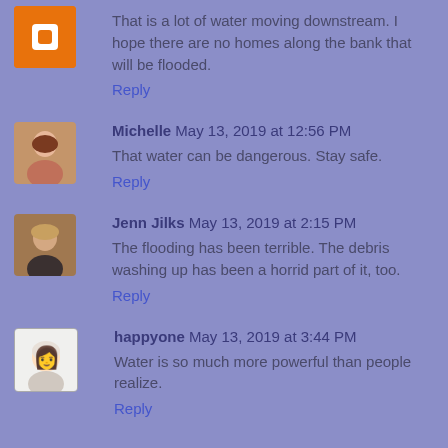That is a lot of water moving downstream. I hope there are no homes along the bank that will be flooded.
Reply
Michelle May 13, 2019 at 12:56 PM
That water can be dangerous. Stay safe.
Reply
Jenn Jilks May 13, 2019 at 2:15 PM
The flooding has been terrible. The debris washing up has been a horrid part of it, too.
Reply
happyone May 13, 2019 at 3:44 PM
Water is so much more powerful than people realize.
Reply